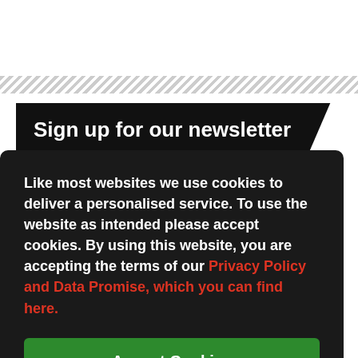Sign up for our newsletter
Like most websites we use cookies to deliver a personalised service. To use the website as intended please accept cookies. By using this website, you are accepting the terms of our Privacy Policy and Data Promise, which you can find here.
Accept Cookies
your ws of cts run by Improbable. For more details on how we